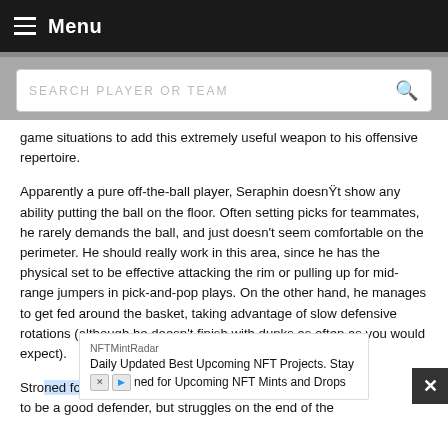Menu
SEARCH PLAYER OR TEAM
game situations to add this extremely useful weapon to his offensive repertoire.
Apparently a pure off-the-ball player, Seraphin doesnt show any ability putting the ball on the floor. Often setting picks for teammates, he rarely demands the ball, and just doesn't seem comfortable on the perimeter. He should really work in this area, since he has the physical set to be effective attacking the rim or pulling up for mid-range jumpers in pick-and-pop plays. On the other hand, he manages to get fed around the basket, taking advantage of slow defensive rotations (although he doesn't finish with dunks as often as you would expect).
Stro... ools to be a good defender, but struggles on the...
NFTMintRadar
Daily Updated Best Upcoming NFT Projects. Stay ned for Upcoming NFT Mints and Drops